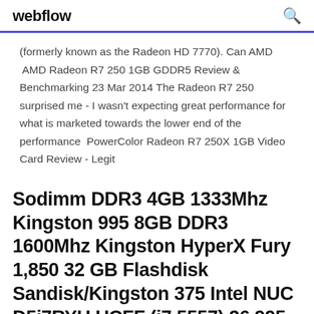webflow
(formerly known as the Radeon HD 7770). Can AMD  AMD Radeon R7 250 1GB GDDR5 Review & Benchmarking 23 Mar 2014 The Radeon R7 250 surprised me - I wasn't expecting great performance for what is marketed towards the lower end of the performance  PowerColor Radeon R7 250X 1GB Video Card Review - Legit
Sodimm DDR3 4GB 1333Mhz Kingston 995 8GB DDR3 1600Mhz Kingston HyperX Fury 1,850 32 GB Flashdisk Sandisk/Kingston 375 Intel NUC D5i7RYU UCFF (i7 5557) 26,995